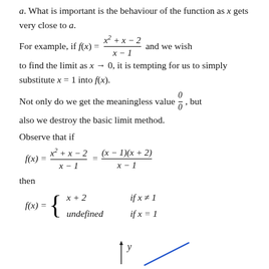a. What is important is the behaviour of the function as x gets very close to a.
For example, if f(x) = (x² + x − 2)/(x − 1) and we wish to find the limit as x → 0, it is tempting for us to simply substitute x = 1 into f(x).
Not only do we get the meaningless value 0/0, but also we destroy the basic limit method.
Observe that if
then
[Figure (other): Partial graph showing y-axis arrow labeled y and a diagonal blue line, bottom of page]